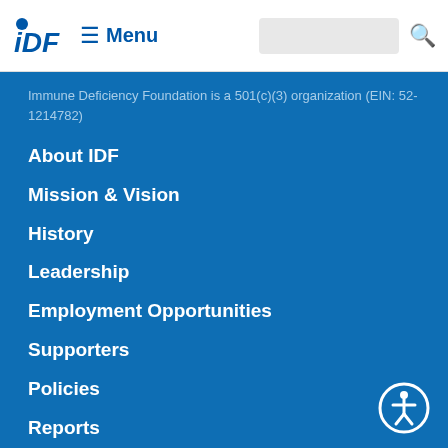IDF ≡ Menu
Immune Deficiency Foundation is a 501(c)(3) organization (EIN: 52-1214782)
About IDF
Mission & Vision
History
Leadership
Employment Opportunities
Supporters
Policies
Reports